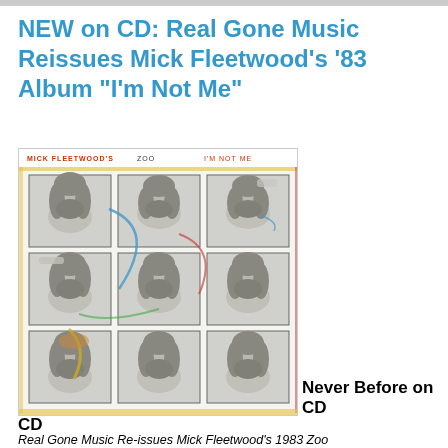NEW on CD: Real Gone Music Reissues Mick Fleetwood's '83 Album "I'm Not Me"
[Figure (photo): Album cover for Mick Fleetwood's Zoo 'I'm Not Me' (1983), showing a 3x3 grid of black-and-white contact sheet photos of Mick Fleetwood making various expressions, with colorful paint strokes overlaid on the contact sheet style layout.]
Never Before on CD
Real Gone Music Re-issues Mick Fleetwood's 1983 Zoo